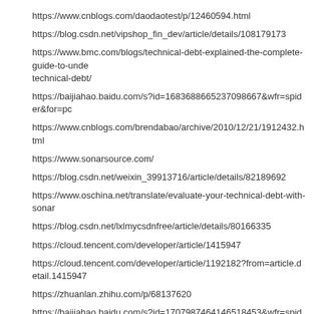https://www.cnblogs.com/daodaotest/p/12460594.html
https://blog.csdn.net/vipshop_fin_dev/article/details/108179173
https://www.bmc.com/blogs/technical-debt-explained-the-complete-guide-to-unde technical-debt/
https://baijiahao.baidu.com/s?id=1683688665237098667&wfr=spider&for=pc
https://www.cnblogs.com/brendabao/archive/2010/12/21/1912432.html
https://www.sonarsource.com/
https://blog.csdn.net/weixin_39913716/article/details/82189692
https://www.oschina.net/translate/evaluate-your-technical-debt-with-sonar
https://blog.csdn.net/lxlmycsdnfree/article/details/80166335
https://cloud.tencent.com/developer/article/1415947
https://cloud.tencent.com/developer/article/1192182?from=article.detail.1415947
https://zhuanlan.zhihu.com/p/68137620
https://baijiahao.baidu.com/s?id=1707987464146518453&wfr=spider&for=pc
https://zhuanlan.zhihu.com/p/140956965
https://www.cnblogs.com/sulanyuan/p/13890890.html
https://blog.csdn.net/k6T9O8XKs6ilk7PPIEo/article/details/103917974